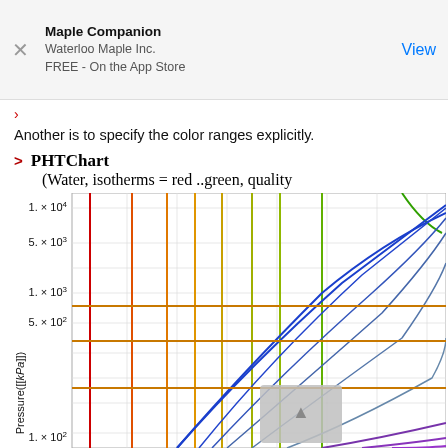[Figure (other): App Store advertisement banner: Maple Companion by Waterloo Maple Inc., FREE - On the App Store, with a View button]
Another is to specify the color ranges explicitly.
> PHT Chart
(Water, isotherms = red ..green, quality
[Figure (continuous-plot): PHT (Pressure-Enthalpy-Temperature) chart for Water showing colored isotherms from red to green and quality lines in blue/purple/orange. Y-axis shows Pressure in kPa on logarithmic scale from 1x10^2 to above 1x10^4. Multiple colored vertical and curved lines representing isotherms and quality contours.]